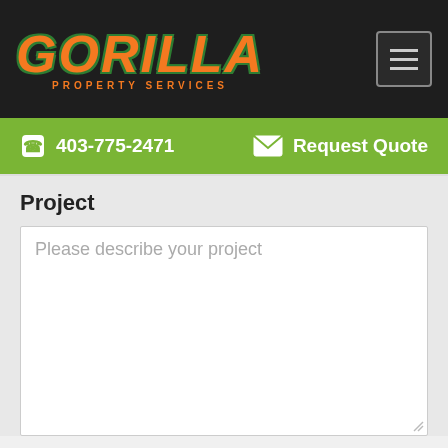[Figure (logo): Gorilla Property Services logo with orange italic text on dark background]
403-775-2471   Request Quote
Project
Please describe your project